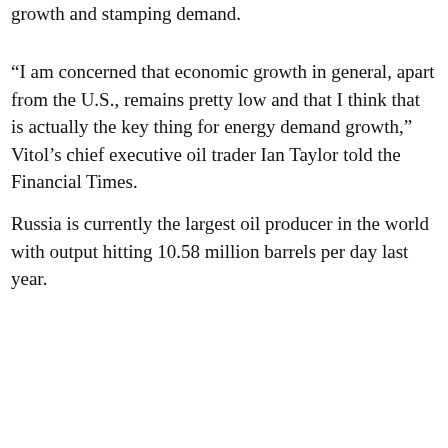growth and stamping demand.
“I am concerned that economic growth in general, apart from the U.S., remains pretty low and that I think that is actually the key thing for energy demand growth,” Vitol’s chief executive oil trader Ian Taylor told the Financial Times.
Russia is currently the largest oil producer in the world with output hitting 10.58 million barrels per day last year.